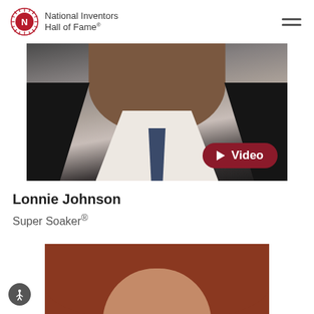National Inventors Hall of Fame®
[Figure (photo): Portrait photo of Lonnie Johnson wearing a dark suit, white collar shirt, and blue tie. A dark red Video button with play icon is overlaid in the lower right of the photo.]
Lonnie Johnson
Super Soaker®
[Figure (photo): Portrait photo of a woman with long red/auburn hair, cropped to show from shoulders up.]